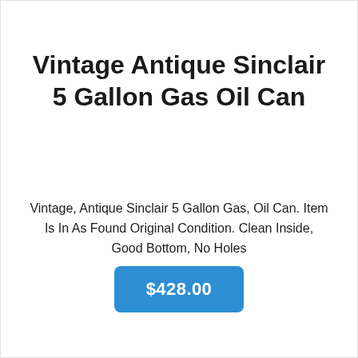Vintage Antique Sinclair 5 Gallon Gas Oil Can
Vintage, Antique Sinclair 5 Gallon Gas, Oil Can. Item Is In As Found Original Condition. Clean Inside, Good Bottom, No Holes
$428.00